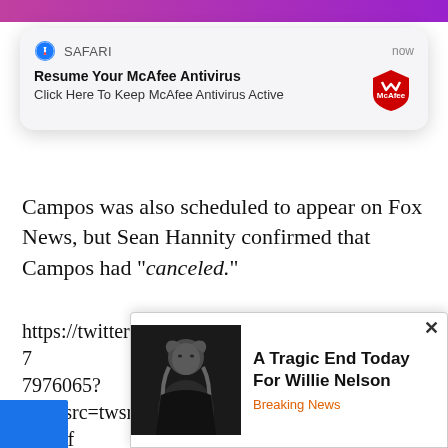[Figure (screenshot): Safari browser push notification popup showing 'Resume Your McAfee Antivirus' with subtitle 'Click Here To Keep McAfee Antivirus Active' and McAfee logo on the right, labeled SAFARI with 'now' timestamp]
Campos was also scheduled to appear on Fox News, but Sean Hannity confirmed that Campos had “canceled.”
https://twitter.com/seanhannity/status/918662694277976065?ref__src=twsrc%5Etfw&ref__url=http%3A%2F%2Fthefreethoughtproject.com%2Fsecurity-guard-disapp
[Figure (screenshot): Ad popup overlay showing a photo of Willie Nelson (elderly man in black) with headline 'A Tragic End Today For Willie Nelson' and tag 'Breaking News', with a close X button]